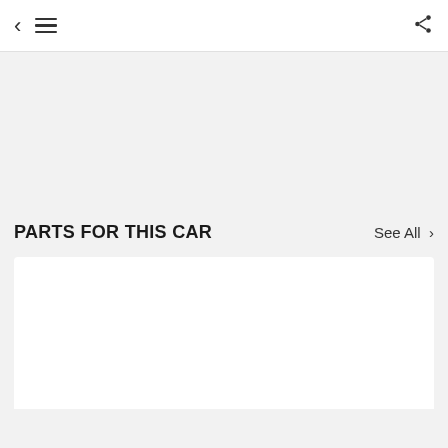Navigation bar with back, menu, and share icons
PARTS FOR THIS CAR   See All >
AEROFLOW GILMER AIR CONDITIONING PULLEY